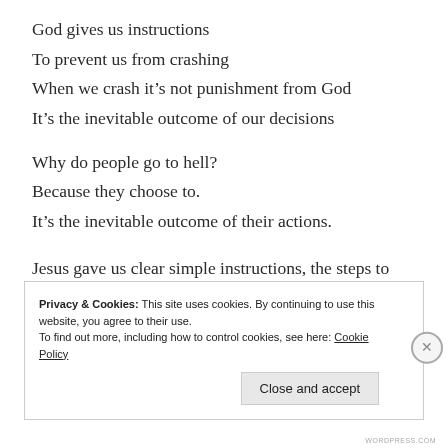God gives us instructions
To prevent us from crashing
When we crash it’s not punishment from God
It’s the inevitable outcome of our decisions
Why do people go to hell?
Because they choose to.
It’s the inevitable outcome of their actions.
Jesus gave us clear simple instructions, the steps to avoid crashing.
Privacy & Cookies: This site uses cookies. By continuing to use this website, you agree to their use.
To find out more, including how to control cookies, see here: Cookie Policy
WORDPRESS.COM